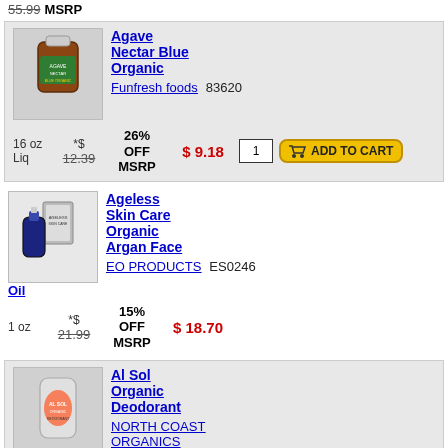55.99 MSRP
[Figure (photo): Bottle of Agave Nectar Blue Organic product]
Agave Nectar Blue Organic
Funfresh foods  83620
16 oz Liq  *$ 12.39  26% OFF MSRP  $ 9.18  1  ADD TO CART
[Figure (photo): Ageless Skin Care Organic Argan Face Oil product with blue bottle and box]
Ageless Skin Care Organic Argan Face Oil
EO PRODUCTS  ES0246
1 oz  *$ 21.99  15% OFF MSRP  $ 18.70
[Figure (photo): Al Sol Organic Deodorant product]
Al Sol Organic Deodorant
NORTH COAST ORGANICS  P682478